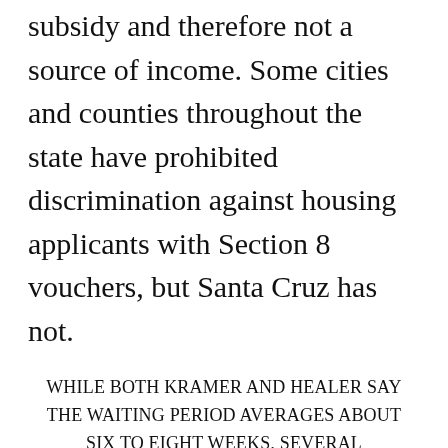subsidy and therefore not a source of income. Some cities and counties throughout the state have prohibited discrimination against housing applicants with Section 8 vouchers, but Santa Cruz has not.
WHILE BOTH KRAMER AND HEALER SAY THE WAITING PERIOD AVERAGES ABOUT SIX TO EIGHT WEEKS, SEVERAL RECIPIENTS TOLD GT IT TOOK SIX MONTHS TO A YEAR.